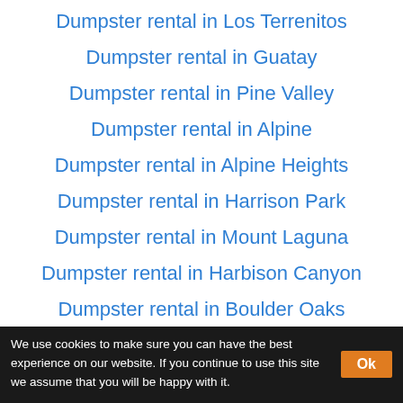Dumpster rental in Los Terrenitos
Dumpster rental in Guatay
Dumpster rental in Pine Valley
Dumpster rental in Alpine
Dumpster rental in Alpine Heights
Dumpster rental in Harrison Park
Dumpster rental in Mount Laguna
Dumpster rental in Harbison Canyon
Dumpster rental in Boulder Oaks
Dumpster rental in El...
We use cookies to make sure you can have the best experience on our website. If you continue to use this site we assume that you will be happy with it.  Ok